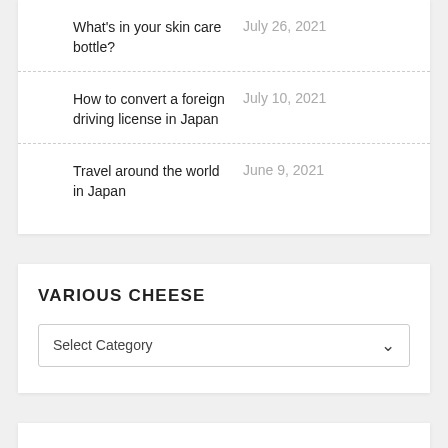What's in your skin care bottle? — July 26, 2021
How to convert a foreign driving license in Japan — July 10, 2021
Travel around the world in Japan — June 9, 2021
VARIOUS CHEESE
Select Category
MY BOOK